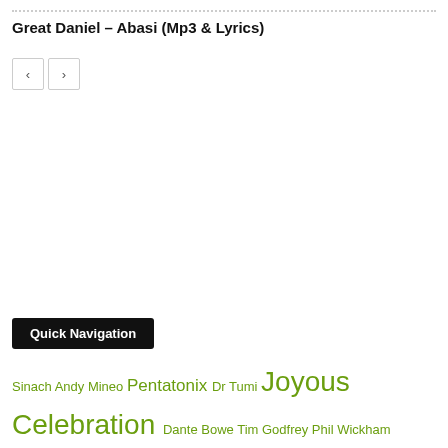Great Daniel – Abasi (Mp3 & Lyrics)
Quick Navigation
Sinach Andy Mineo Pentatonix Dr Tumi Joyous Celebration Dante Bowe Tim Godfrey Phil Wickham Victoria Orenze Kirk Franklin Casting Crowns Gaither Music Travis Greene Chandler Moore Naomi Raine Steven Furtick The Belonging Co Passion KB Dunsin Oyekan Tobymac Ada Ehi Tasha Cobbs Leonard Kari Jobe Danny Gokey Hillsong UNITED Nathaniel Bassey GAWVI Hillsong Worship